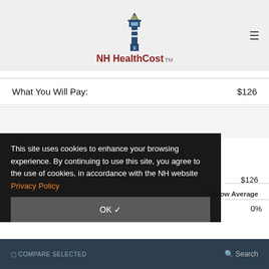NH HealthCost
What You Will Pay: $126
Amoskeag Health > Manchester, NH
This site uses cookies to enhance your browsing experience. By continuing to use this site, you agree to the use of cookies, in accordance with the NH website Privacy Policy
OK ✓
$126
▼ Below Average
Uninsured Discount: 0%
COMPARE SELECTED | Search